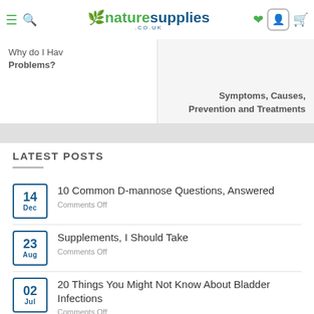[Figure (screenshot): naturesupplies.co.uk website navigation bar with hamburger menu, search icon, logo with green leaf, heart icon, user icon, and basket icon]
Why do I Have... Problems?
Symptoms, Causes, Prevention and Treatments
LATEST POSTS
14 Dec — 10 Common D-mannose Questions, Answered
Comments Off
23 Aug — Supplements, I Should Take
Comments Off
02 Jul — 20 Things You Might Not Know About Bladder Infections
Comments Off